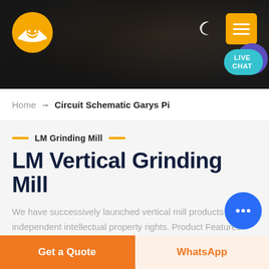[Figure (screenshot): Dark industrial background header banner with company logo (orange hard hat icon), moon/dark-mode icon, yellow hamburger menu button, and teal Live Chat bubble with purple circle accent]
Home → Circuit Schematic Garys Pi
LM Grinding Mill
LM Vertical Grinding Mill
We have successively launched vertical mill products with independent intellectual property rights. Product Features: Integration of multiple functions, more stable and reliable
Get a Quote
WhatsApp